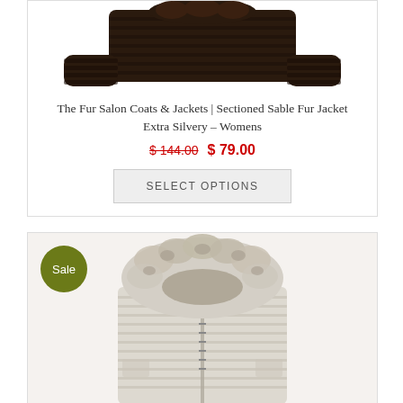[Figure (photo): Dark brown fur jacket/coat cropped at top, showing fur cuffs and collar area, top portion of product image]
The Fur Salon Coats & Jackets | Sectioned Sable Fur Jacket Extra Silvery – Womens
$ 144.00  $ 79.00
SELECT OPTIONS
[Figure (photo): Light beige/cream horizontal-sectioned fur jacket with large fluffy fur hood/collar, zipper front, shown from front. Sale badge in olive green circle top left.]